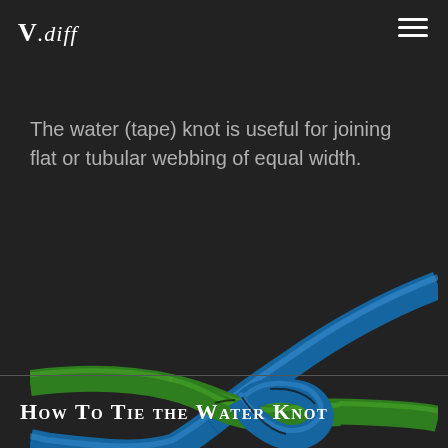V.diff
The water (tape) knot is useful for joining flat or tubular webbing of equal width.
[Figure (illustration): Illustration of a water knot (tape knot) showing a blue webbing strap and a green webbing strap tied together in a water knot against a dark background.]
How To Tie the Water Knot